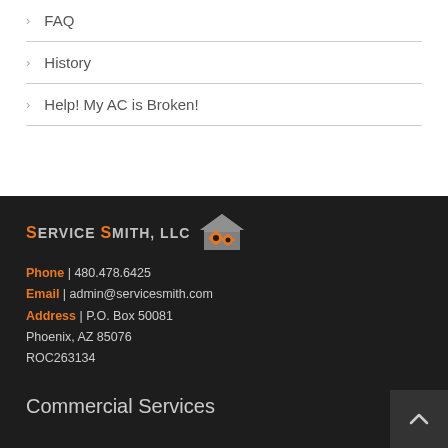FAQ
History
Help! My AC is Broken!
[Figure (logo): Service Smith LLC logo with orange house icon]
Phone | 480.478.6425
Email | admin@servicesmith.com
Address | P.O. Box 50081
Phoenix, AZ 85076
ROC263134
Commercial Services